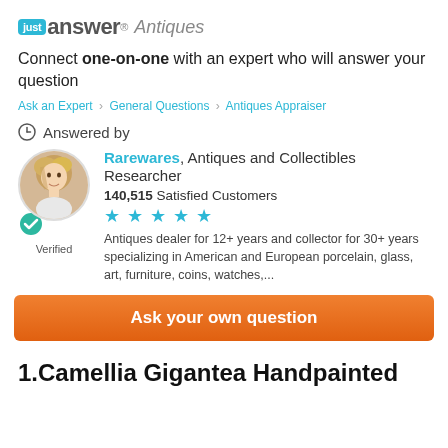[Figure (logo): JustAnswer Antiques logo with teal 'just' box and gray 'answer' wordmark followed by italic 'Antiques']
Connect one-on-one with an expert who will answer your question
Ask an Expert > General Questions > Antiques Appraiser
Answered by
[Figure (photo): Circular avatar photo of blonde woman expert named Rarewares with green verified checkmark badge]
Rarewares, Antiques and Collectibles Researcher
140,515 Satisfied Customers
★★★★★
Antiques dealer for 12+ years and collector for 30+ years specializing in American and European porcelain, glass, art, furniture, coins, watches,...
Ask your own question
1.Camellia Gigantea Handpainted